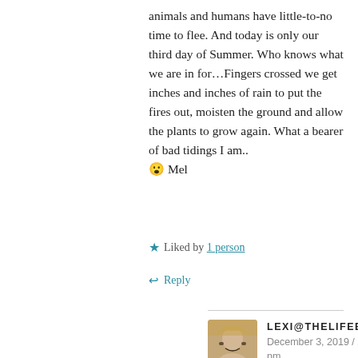animals and humans have little-to-no time to flee. And today is only our third day of Summer. Who knows what we are in for…Fingers crossed we get inches and inches of rain to put the fires out, moisten the ground and allow the plants to grow again. What a bearer of bad tidings I am.. 😮 Mel
★ Liked by 1 person
↩ Reply
LEXI@THELIFEBUS
December 3, 2019 / 2:45 pm
Yikes!! Yes at least you didn't